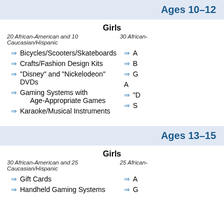Ages 10–12
Girls
20 African-American and 10 Caucasian/Hispanic | 30 African-...
Bicycles/Scooters/Skateboards
Crafts/Fashion Design Kits
"Disney" and "Nickelodeon" DVDs
Gaming Systems with Age-Appropriate Games
Karaoke/Musical Instruments
Ages 13–15
Girls
30 African-American and 25 Caucasian/Hispanic | 25 African-...
Gift Cards
Handheld Gaming Systems